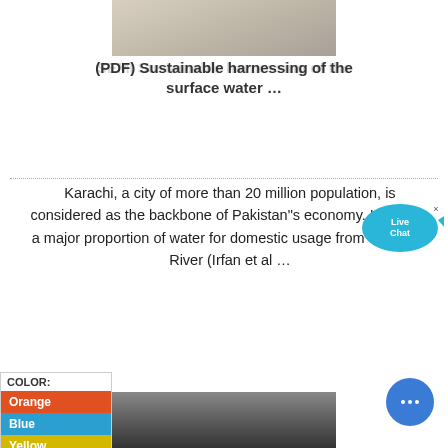[Figure (photo): Top photograph showing sandy/dusty surface texture]
(PDF) Sustainable harnessing of the surface water ...
Karachi, a city of more than 20 million population, is considered as the backbone of Pakistan"s economy. It imports a major proportion of water for domestic usage from the Indus River (Irfan et al ...
[Figure (illustration): Live Chat bubble icon with cyan fish shape and × button]
[Figure (other): COLOR panel with Orange, Blue, Yellow swatches]
[Figure (other): Blue circular chat/messaging button]
[Figure (photo): Bottom photograph showing industrial tanks or equipment]